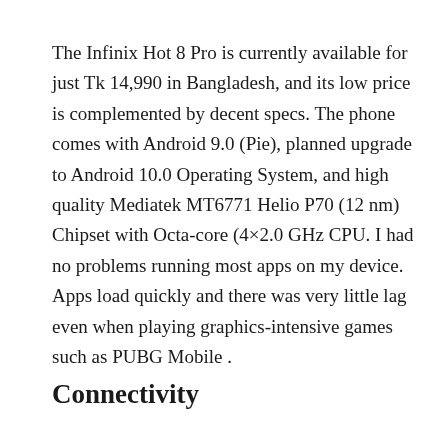The Infinix Hot 8 Pro is currently available for just Tk 14,990 in Bangladesh, and its low price is complemented by decent specs. The phone comes with Android 9.0 (Pie), planned upgrade to Android 10.0 Operating System, and high quality Mediatek MT6771 Helio P70 (12 nm) Chipset with Octa-core (4×2.0 GHz CPU. I had no problems running most apps on my device. Apps load quickly and there was very little lag even when playing graphics-intensive games such as PUBG Mobile .
Connectivity